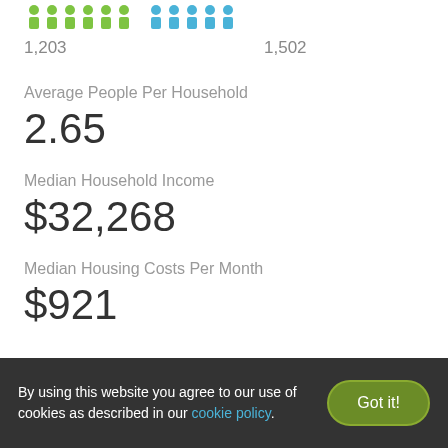[Figure (infographic): Row of person icons alternating green and blue representing household population counts. Labels show 1,203 and 1,502.]
1,203
1,502
Average People Per Household
2.65
Median Household Income
$32,268
Median Housing Costs Per Month
$921
By using this website you agree to our use of cookies as described in our cookie policy.